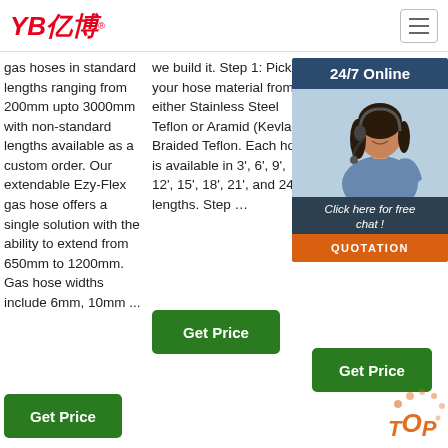[Figure (logo): YB亿博 logo in red italic text with registered trademark symbol]
[Figure (other): Hamburger menu icon button in top right]
gas hoses in standard lengths ranging from 200mm upto 3000mm with non-standard lengths available as a custom order. Our extendable Ezy-Flex gas hose offers a single solution with the ability to extend from 650mm to 1200mm. Gas hose widths include 6mm, 10mm ...
we build it. Step 1: Pick your hose material from either Stainless Steel Teflon or Aramid (Kevlar) Braided Teflon. Each hose is available in 3', 6', 9', 12', 15', 18', 21', and 24' lengths. Step …
Newest design top qua vari usin duri natu brai Wh qua cus stai reg hos
[Figure (infographic): 24/7 Online chat widget with woman wearing headset, 'Click here for free chat!' text and QUOTATION orange button]
[Figure (other): Get Price green button - column 2]
[Figure (other): Get Price green button - column 3]
[Figure (other): Get Price green button - column 1]
[Figure (other): TOP orange circular button in bottom right]